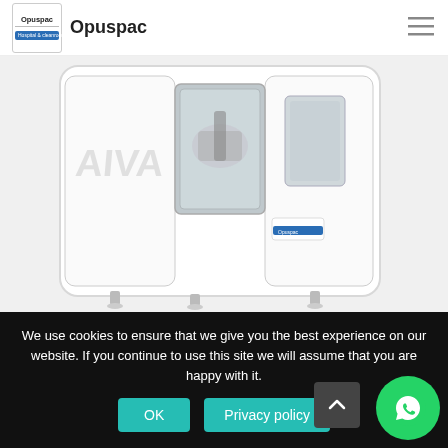Opuspac
[Figure (photo): White industrial dispensing/compounding machine branded AIVA by Opuspac, photographed against a white background. The machine has a rectangular cabinet with viewing windows, internal robotic components visible, and adjustable feet.]
We use cookies to ensure that we give you the best experience on our website. If you continue to use this site we will assume that you are happy with it.
OK   Privacy policy